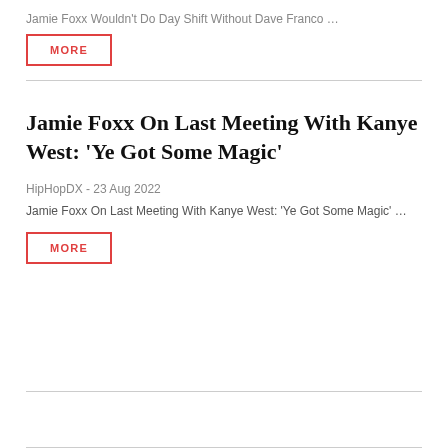Jamie Foxx Wouldn't Do Day Shift Without Dave Franco …
MORE
Jamie Foxx On Last Meeting With Kanye West: 'Ye Got Some Magic'
HipHopDX - 23 Aug 2022
Jamie Foxx On Last Meeting With Kanye West: 'Ye Got Some Magic' …
MORE